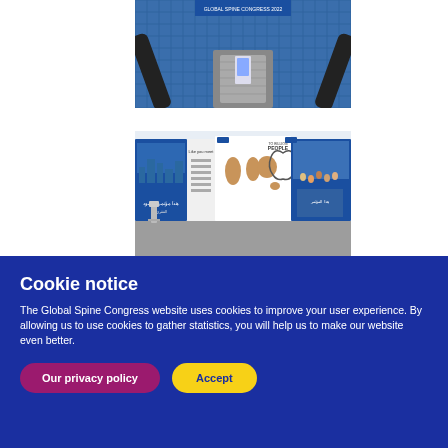[Figure (photo): Interior photo of an escalator area with blue tiled walls and signage, shot from above looking down]
[Figure (photo): Conference exhibition display showing world map infographics and banner stands outdoors on a paved area]
Cookie notice
The Global Spine Congress website uses cookies to improve your user experience. By allowing us to use cookies to gather statistics, you will help us to make our website even better.
Our privacy policy
Accept